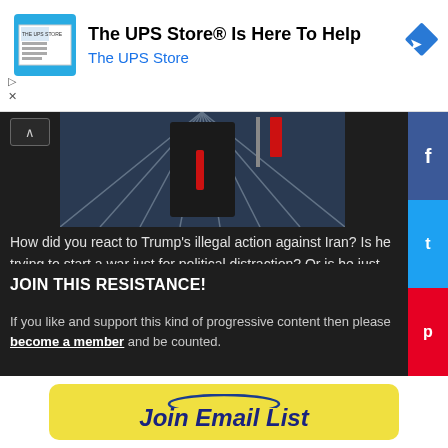[Figure (screenshot): UPS Store advertisement banner with logo icon, text 'The UPS Store® Is Here To Help' and blue diamond arrow logo]
[Figure (photo): Partial photo of a person in a dark suit with red tie, appears to be a political figure at a podium or event]
How did you react to Trump's illegal action against Iran? Is he trying to start a war just for political distraction? Or is he just listening to the war pigs that comprise what is left ...
1  2  3  4  5  >>
JOIN THIS RESISTANCE!
If you like and support this kind of progressive content then please become a member and be counted.
[Figure (screenshot): Yellow 'Join Email List' button with blue arc logo above it on white background]